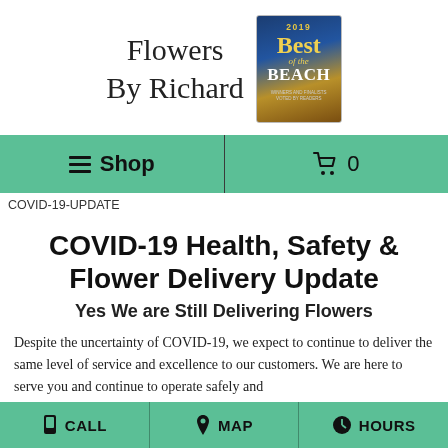Flowers By Richard
[Figure (other): 2019 Best of the Beach award badge with gold and blue design]
≡ Shop  🛒 0
COVID-19-UPDATE
COVID-19 Health, Safety & Flower Delivery Update
Yes We are Still Delivering Flowers
Despite the uncertainty of COVID-19, we expect to continue to deliver the same level of service and excellence to our customers. We are here to serve you and continue to operate safely and
📱 CALL  📍 MAP  🕐 HOURS